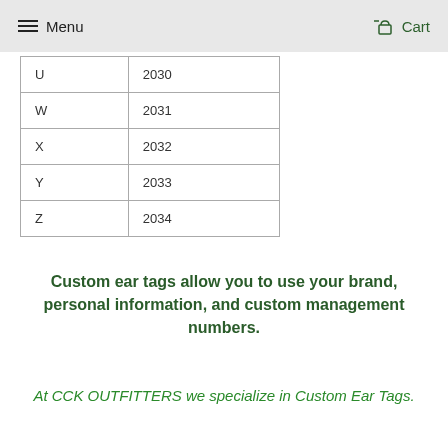Menu   Cart
| U | 2030 |
| W | 2031 |
| X | 2032 |
| Y | 2033 |
| Z | 2034 |
Custom ear tags allow you to use your brand, personal information, and custom management numbers.
At CCK OUTFITTERS we specialize in Custom Ear Tags.